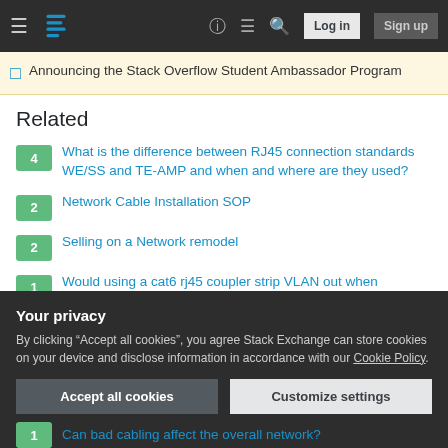Stack Exchange navigation bar with Log in and Sign up buttons
Announcing the Stack Overflow Student Ambassador Program
Related
4 — What is the difference between RJ45 connection standards WE/SS and TE-AMP and when and where are they used?
2 — Network Cable Installation SOP
2 — Selling on a Network remodel
1 — Would using a cat6 rj45 coupler strip VLAN out when connecting 2 VLAN aware devices ?
Your privacy
By clicking "Accept all cookies", you agree Stack Exchange can store cookies on your device and disclose information in accordance with our Cookie Policy.
1 — Can bad cabling affect the overall network?